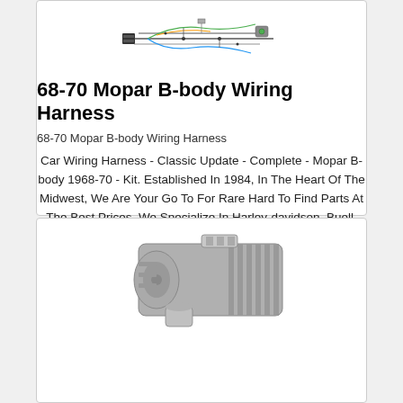[Figure (photo): Wiring harness diagram/schematic illustration shown at top of product card]
68-70 Mopar B-body Wiring Harness
68-70 Mopar B-body Wiring Harness
Car Wiring Harness - Classic Update - Complete - Mopar B-body 1968-70 - Kit. Established In 1984, In The Heart Of The Midwest, We Are Your Go To For Rare Hard To Find Parts At The Best Prices. We Specialize In Harley-davidson, Buell, Mopar, Gm, And Ford Parts.
$1053.99
[Figure (photo): Photo of an automotive motor/compressor unit shown at bottom of page]